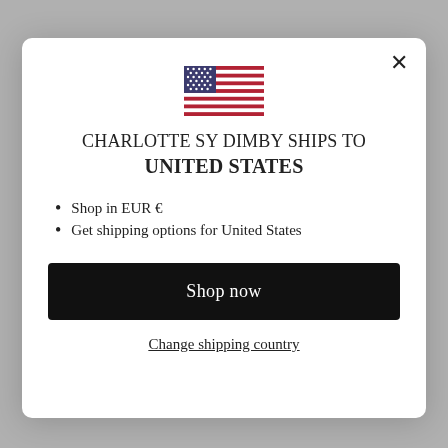[Figure (screenshot): Website modal dialog for Charlotte Sy Dimby shipping location selector, shown over a grey background with a partial website visible behind it.]
CHARLOTTE SY DIMBY SHIPS TO UNITED STATES
Shop in EUR €
Get shipping options for United States
Shop now
Change shipping country